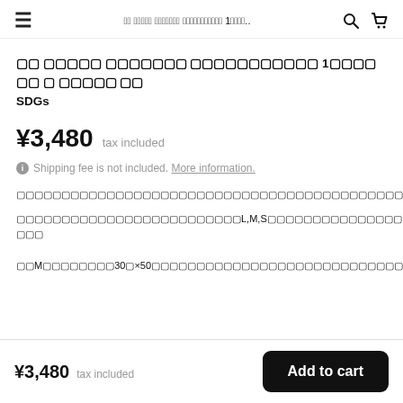≡  ○○ ○○○○○ ○○○○○○○ ○○○○○○○○○○○ 1○○○○..  🔍  🛒
○○ ○○○○○ ○○○○○○○ ○○○○○○○○○○○ 1○○○○ ○○ ○ ○○○○○ ○○ SDGs
¥3,480  tax included
ⓘ Shipping fee is not included. More information.
○○○○○○○○○○○○○○○○○○○○○○○○○○○○○○○○○○○○○○○○○○○○○○○○○○○○○○○○○○○○○○○○○○○○○○○○○
○○○○○○○○○○○○○○○○○○○○○○○○○L,M,S○○○○○○○○○○○○○○○○○○○○○○○○○○○○○○○○○○○○○○○○○○○○○○○○○○○○○○○○○○○
○○M○○○○○○○○30○×50○○○○○○○○○○○○○○○○○○○○○○○○○○○○○○○50○○○○○○○○○○○
¥3,480  tax included  Add to cart